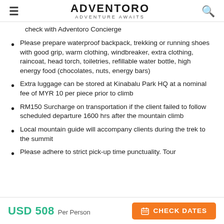ADVENTORO ADVENTURE AWAITS
check with Adventoro Concierge
Please prepare waterproof backpack, trekking or running shoes with good grip, warm clothing, windbreaker, extra clothing, raincoat, head torch, toiletries, refillable water bottle, high energy food (chocolates, nuts, energy bars)
Extra luggage can be stored at Kinabalu Park HQ at a nominal fee of MYR 10 per piece prior to climb
RM150 Surcharge on transportation if the client failed to follow scheduled departure 1600 hrs after the mountain climb
Local mountain guide will accompany clients during the trek to the summit
Please adhere to strict pick-up time punctuality. Tour
USD 508 Per Person  CHECK DATES